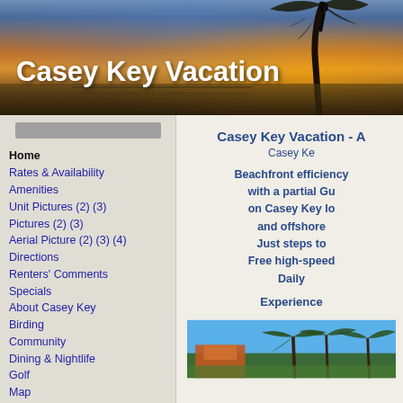[Figure (photo): Casey Key Vacation website header banner showing a tropical beach sunset with palm tree silhouette, warm orange and golden sky colors, ocean in the background]
Casey Key Vacation
[Figure (screenshot): Gray search/navigation bar in sidebar]
Home
Rates & Availability
Amenities
Unit Pictures (2) (3)
Pictures (2) (3)
Aerial Picture (2) (3) (4)
Directions
Renters' Comments
Specials
About Casey Key
Birding
Community
Dining & Nightlife
Golf
Map
Weather
Florida Resources (2)
US Resources (2)
Other Resources (2)
Contact Us
Casey Key Vacation - A
Casey Ke
Beachfront efficiency with a partial Gu on Casey Key lo and offshore Just steps to Free high-speed Daily
Experience
[Figure (photo): Tropical scene showing palm trees against a blue sky with a building visible, vacation rental property exterior]